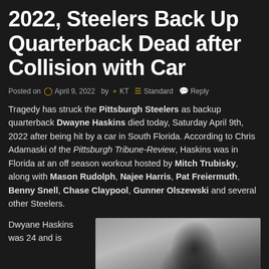2022, Steelers Back Up Quarterback Dead after Collision with Car
Posted on  April 9, 2022 by   KT    Standard   Reply
Tragedy has struck the Pittsburgh Steelers as backup quarterback Dwayne Haskins died today, Saturday April 9th, 2022 after being hit by a car in South Florida. According to Chris Adamaski of the Pittsburgh Tribune-Review, Haskins was in Florida at an off season workout hosted by Mitch Trubisky, along with Mason Rudolph, Najee Harris, Pat Freiermuth, Benny Snell, Chase Claypool, Gunner Olszewski and several other Steelers.
Dwyane Haskins was 24 and is
[Figure (photo): Black and white portrait photo of Dwayne Haskins]